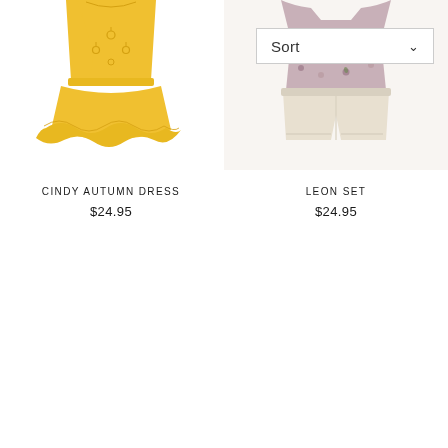[Figure (photo): Yellow children's dress with ruffle hem and embroidered details on a white background]
[Figure (photo): Children's floral top with cream shorts set on a white background, with a Sort dropdown overlay in upper right]
CINDY AUTUMN DRESS
$24.95
LEON SET
$24.95